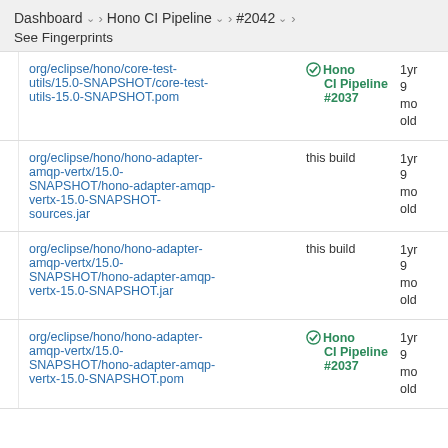Dashboard > Hono CI Pipeline > #2042 > See Fingerprints
| File | Build | Age |
| --- | --- | --- |
| org/eclipse/hono/core-test-utils/15.0-SNAPSHOT/core-test-utils-15.0-SNAPSHOT.pom | Hono CI Pipeline #2037 | 1yr 9 mo old |
| org/eclipse/hono/hono-adapter-amqp-vertx/15.0-SNAPSHOT/hono-adapter-amqp-vertx-15.0-SNAPSHOT-sources.jar | this build | 1yr 9 mo old |
| org/eclipse/hono/hono-adapter-amqp-vertx/15.0-SNAPSHOT/hono-adapter-amqp-vertx-15.0-SNAPSHOT.jar | this build | 1yr 9 mo old |
| org/eclipse/hono/hono-adapter-amqp-vertx/15.0-SNAPSHOT/hono-adapter-amqp-vertx-15.0-SNAPSHOT.pom | Hono CI Pipeline #2037 | 1yr 9 mo old |